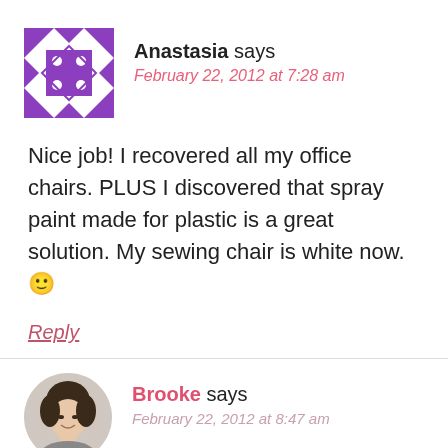[Figure (illustration): Purple geometric quilt-pattern avatar icon for user Anastasia]
Anastasia says
February 22, 2012 at 7:28 am
Nice job! I recovered all my office chairs. PLUS I discovered that spray paint made for plastic is a great solution. My sewing chair is white now. 🙂
Reply
[Figure (photo): Circular avatar photo of a woman with brown hair (Brooke)]
Brooke says
February 22, 2012 at 8:47 am